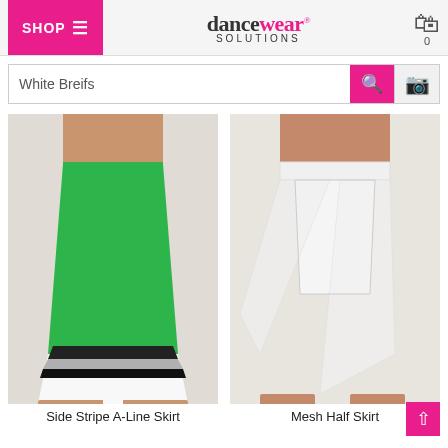SHOP ☰ | dancewear SOLUTIONS | Cart 0
White Breifs
[Figure (photo): Green and white cheerleader Side Stripe A-Line Skirt with black and grey stripe trim at hem, worn by a model]
Side Stripe A-Line Skirt
[Figure (photo): White Mesh Half Skirt with asymmetric draped side, worn by a model]
Mesh Half Skirt